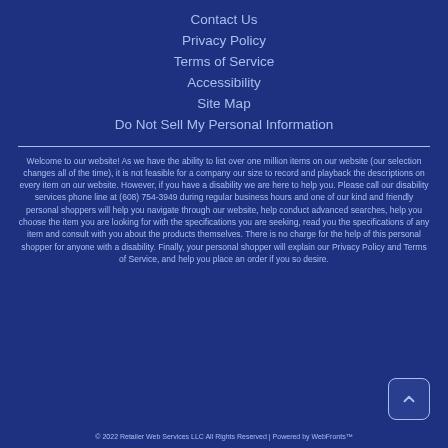Contact Us
Privacy Policy
Terms of Service
Accessibility
Site Map
Do Not Sell My Personal Information
Welcome to our website! As we have the ability to list over one million items on our website (our selection changes all of the time), it is not feasible for a company our size to record and playback the descriptions on every item on our website. However, if you have a disability we are here to help you. Please call our disability services phone line at (608) 754-3949 during regular business hours and one of our kind and friendly personal shoppers will help you navigate through our website, help conduct advanced searches, help you choose the item you are looking for with the specifications you are seeking, read you the specifications of any item and consult with you about the products themselves. There is no charge for the help of this personal shopper for anyone with a disability. Finally, your personal shopper will explain our Privacy Policy and Terms of Service, and help you place an order if you so desire.
© 2022 Retailer Web Services LLC All Rights Reserved | Powered by WebFronts™